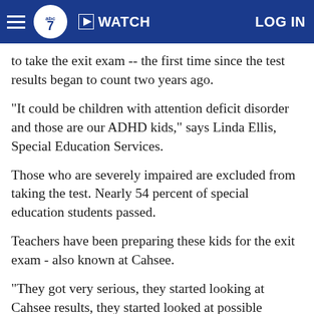ABC7 navigation bar with hamburger menu, ABC7 logo, WATCH button, and LOG IN link
to take the exit exam -- the first time since the test results began to count two years ago.
"It could be children with attention deficit disorder and those are our ADHD kids," says Linda Ellis, Special Education Services.
Those who are severely impaired are excluded from taking the test. Nearly 54 percent of special education students passed.
Teachers have been preparing these kids for the exit exam - also known at Cahsee.
"They got very serious, they started looking at Cahsee results, they started looked at possible interventions that could take place, they looked at the students at their school